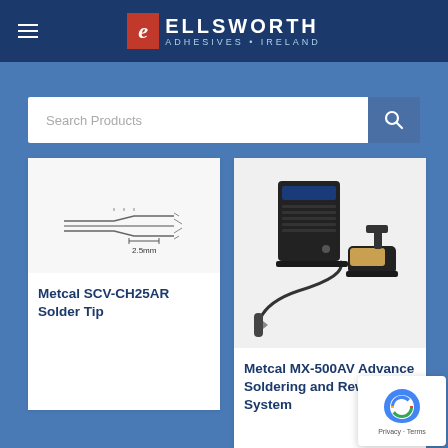Ellsworth Adhesives Ireland
[Figure (screenshot): Search Products input field with magnifying glass button]
[Figure (illustration): Metcal SCV-CH25AR Solder Tip product image with 2.5mm dimension label]
Metcal SCV-CH25AR Solder Tip
[Figure (photo): Metcal MX-500AV Advance Soldering and Rework System product photo showing power unit, iron holder, and soldering iron]
Metcal MX-500AV Advance Soldering and Rework System